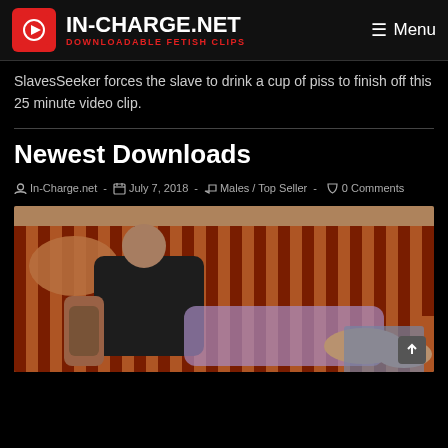IN-CHARGE.NET DOWNLOADABLE FETISH CLIPS / Menu
SlavesSeeker forces the slave to drink a cup of piss to finish off this 25 minute video clip.
Newest Downloads
In-Charge.net · July 7, 2018 · Males / Top Seller · 0 Comments
[Figure (photo): Man reclining on orange striped sofa with bare feet, wearing black tank top and dark shorts, with tattoos on arm]